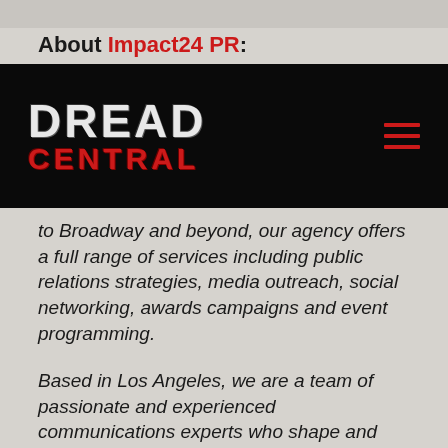About Impact24 PR:
[Figure (logo): Dread Central logo on black navigation bar with hamburger menu icon in red on the right]
to Broadway and beyond, our agency offers a full range of services including public relations strategies, media outreach, social networking, awards campaigns and event programming.
Based in Los Angeles, we are a team of passionate and experienced communications experts who shape and define the public profiles of many of the industry's leading creative artists, including...